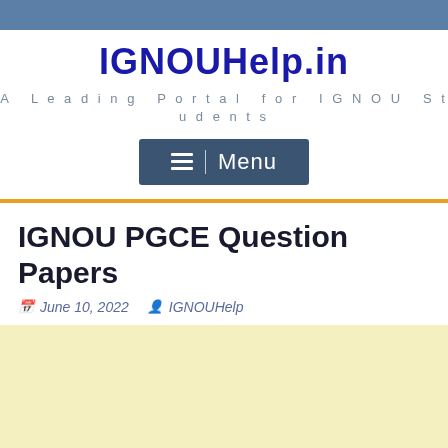IGNOUHelp.in
A Leading Portal for IGNOU Students
[Figure (other): Navigation menu button with hamburger icon and Menu label on dark blue background]
IGNOU PGCE Question Papers
June 10, 2022  IGNOUHelp
[Figure (other): Advertisement block with pale yellow background]